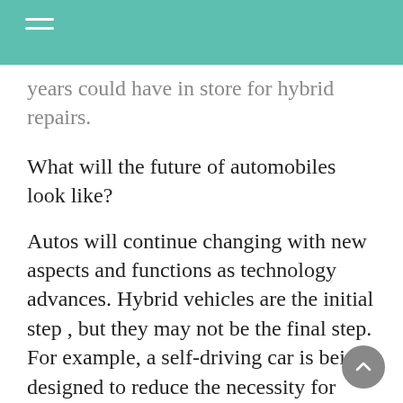years could have in store for hybrid repairs.
What will the future of automobiles look like?
Autos will continue changing with new aspects and functions as technology advances. Hybrid vehicles are the initial step , but they may not be the final step. For example, a self-driving car is being designed to reduce the necessity for private automobile ownership.
Is it crucial for you to get the ideal details concerning Valley Center Hybrid Diagnostic